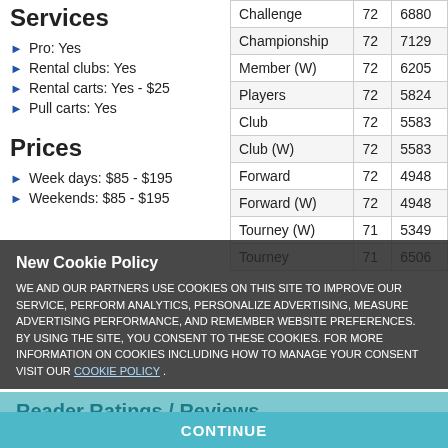Services
Pro: Yes
Rental clubs: Yes
Rental carts: Yes - $25
Pull carts: Yes
Prices
Week days: $85 - $195
Weekends: $85 - $195
| Tee | Par | Yards |
| --- | --- | --- |
| Challenge | 72 | 6880 |
| Championship | 72 | 7129 |
| Member (W) | 72 | 6205 |
| Players | 72 | 5824 |
| Club | 72 | 5583 |
| Club (W) | 72 | 5583 |
| Forward | 72 | 4948 |
| Forward (W) | 72 | 4948 |
| Tourney (W) | 71 | 5349 |
| Tourney | 71 | 6506 |
At same facility
Belfair Golf Club - East
WE AND OUR PARTNERS USE COOKIES ON THIS SITE TO IMPROVE OUR SERVICE, PERFORM ANALYTICS, PERSONALIZE ADVERTISING, MEASURE ADVERTISING PERFORMANCE, AND REMEMBER WEBSITE PREFERENCES. BY USING THE SITE, YOU CONSENT TO THESE COOKIES. FOR MORE INFORMATION ON COOKIES INCLUDING HOW TO MANAGE YOUR CONSENT VISIT OUR COOKIE POLICY.
Reader Ratings / Reviews